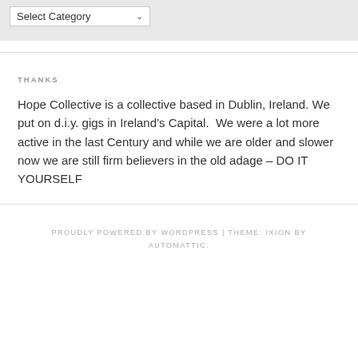[Figure (screenshot): A dropdown select element with label 'Select Category' on a light grey background]
THANKS
Hope Collective is a collective based in Dublin, Ireland. We put on d.i.y. gigs in Ireland’s Capital.  We were a lot more active in the last Century and while we are older and slower now we are still firm believers in the old adage – DO IT YOURSELF
PROUDLY POWERED BY WORDPRESS | THEME: IXION BY AUTOMATTIC.